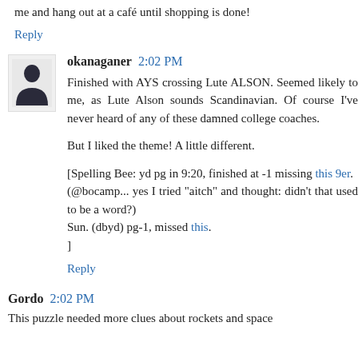me and hang out at a café until shopping is done!
Reply
okanaganer 2:02 PM
Finished with AYS crossing Lute ALSON. Seemed likely to me, as Lute Alson sounds Scandinavian. Of course I've never heard of any of these damned college coaches.
But I liked the theme! A little different.
[Spelling Bee: yd pg in 9:20, finished at -1 missing this 9er. (@bocamp... yes I tried "aitch" and thought: didn't that used to be a word?) Sun. (dbyd) pg-1, missed this. ]
Reply
Gordo 2:02 PM
This puzzle needed more clues about rockets and space